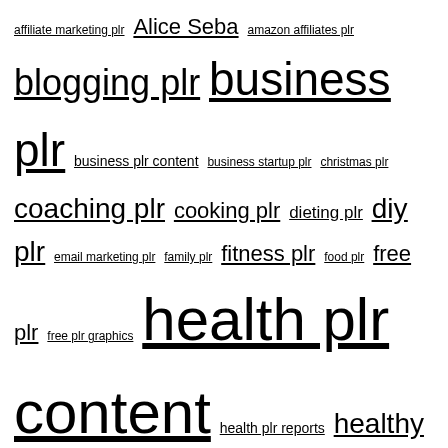affiliate marketing plr Alice Seba amazon affiliates plr blogging plr business plr business plr content business startup plr christmas plr coaching plr cooking plr dieting plr diy plr email marketing plr family plr fitness plr food plr free plr free plr graphics health plr content health plr reports healthy eating plr home plr IM plr content im plr reports make money plr marketing plr Melissa Ingold moms plr Nicole Dean parenting plr plr coupon codes plr courses plr ebooks plr graphics plr marketing plr on sale plr product reviews plr recipes plr reports plr sale seasonal plr self help plr Sharyn Sheldon social media plr weight loss plr